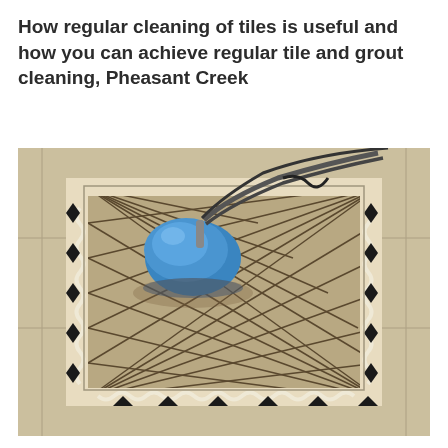How regular cleaning of tiles is useful and how you can achieve regular tile and grout cleaning, Pheasant Creek
[Figure (photo): A blue rotary floor scrubbing machine cleaning a decorative tiled floor with a diamond-patterned border featuring black diamond shapes and white scallop trim, surrounded by diagonal-set beige tiles with dark dirty grout.]